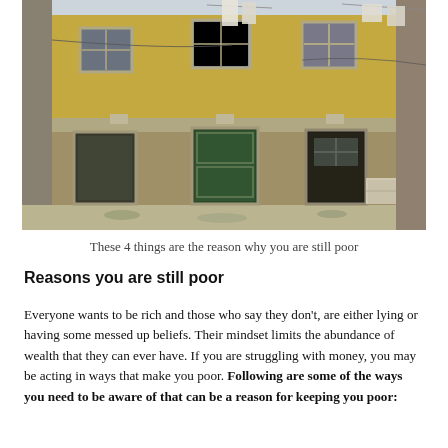[Figure (photo): Photograph of a run-down, weathered building facade with yellow-ochre walls, stone trim, three dark green/black doors at street level, upper windows, and laundry hanging above. Cobblestone ground in front.]
These 4 things are the reason why you are still poor
Reasons you are still poor
Everyone wants to be rich and those who say they don't, are either lying or having some messed up beliefs. Their mindset limits the abundance of wealth that they can ever have. If you are struggling with money, you may be acting in ways that make you poor. Following are some of the ways you need to be aware of that can be a reason for keeping you poor: